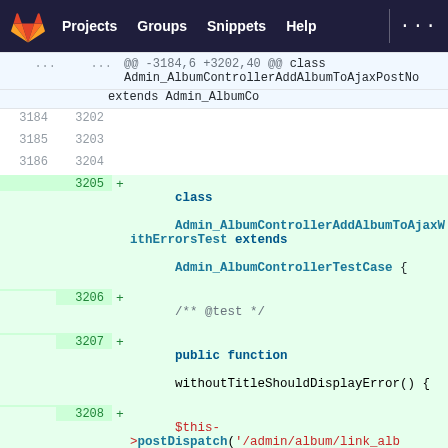Projects  Groups  Snippets  Help  ...
[Figure (screenshot): GitLab diff view showing PHP code addition. Hunk header: @@ -3184,6 +3202,40 @@ class Admin_AlbumControllerAddAlbumToAjaxPostNo extends Admin_AlbumCo. Lines 3184-3186 unchanged (3202-3204). Line 3205+: class Admin_AlbumControllerAddAlbumToAjaxWithErrorsTest extends Admin_AlbumControllerTestCase {. Line 3206+: /** @test */. Line 3207+: public function withoutTitleShouldDisplayError() {. Line 3208+: $this->postDispatch('/admin/album/link_album_to/id_notice/8',. Line 3209+: ['titre' => '',. Line 3210+: 'visible' => '0',. Line 3211+: 'status' => Class_Album::STATUS_VALIDATED,.]
@@ -3184,6 +3202,40 @@ class Admin_AlbumControllerAddAlbumToAjaxPostNo extends Admin_AlbumCo
3184 3202
3185 3203
3186 3204
+ class Admin_AlbumControllerAddAlbumToAjaxWithErrorsTest extends Admin_AlbumControllerTestCase {
3206 + /** @test */
3207 + public function withoutTitleShouldDisplayError() {
3208 + $this->postDispatch('/admin/album/link_album_to/id_notice/8',
3209 + ['titre' => '',
3210 + 'visible' => '0',
3211 + 'status' => Class_Album::STATUS_VALIDATED,